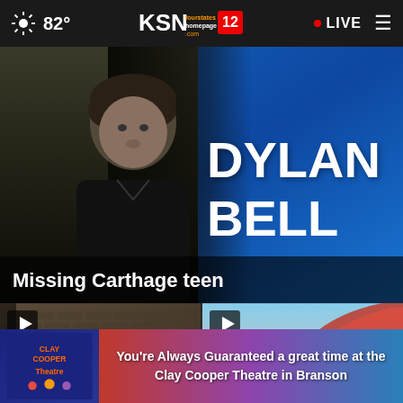82° KSN fourstates homepage.com 12 • LIVE ≡
[Figure (screenshot): TV news graphic showing a young man with dark hair on the left side against a dark background, and a blue branded graphic on the right displaying the name DYLAN BELL in large white bold text]
Missing Carthage teen
[Figure (screenshot): Video thumbnail on the left showing a brick building exterior, with a play button icon]
[Figure (screenshot): Video thumbnail on the right showing a red curved structure against a sky background, with a play button icon and a close (X) button]
[Figure (infographic): Clay Cooper Theatre advertisement banner at the bottom: You're Always Guaranteed a great time at the Clay Cooper Theatre in Branson]